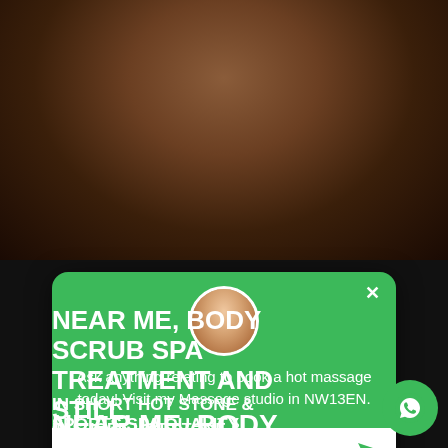[Figure (photo): Male torso photo on dark background]
Ask anything relating to book a hot massage today! Visit my Massage studio in NW13EN.
Hot Massage
NEAR ME, BODY SCRUB SPA TREATMENT AND STILL.
IN SHORT HOT STONE & SPORTS SPA QUALITY